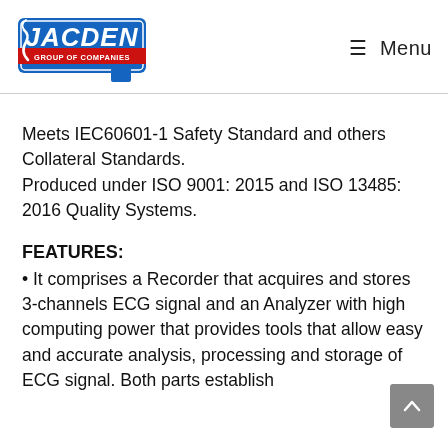[Figure (logo): Jacden Group of Companies logo — blue and red stylized text logo]
≡ Menu
Meets IEC60601-1 Safety Standard and others Collateral Standards. Produced under ISO 9001: 2015 and ISO 13485: 2016 Quality Systems.
FEATURES:
• It comprises a Recorder that acquires and stores 3-channels ECG signal and an Analyzer with high computing power that provides tools that allow easy and accurate analysis, processing and storage of ECG signal. Both parts establish